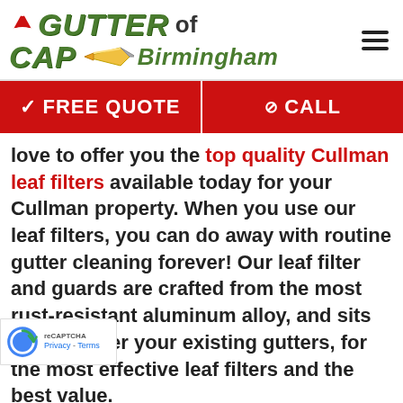[Figure (logo): Gutter Cap of Birmingham logo with santa hat graphic and rocket/pencil graphic]
✓FREE QUOTE   ⊘ CALL
love to offer you the top quality Cullman leaf filters available today for your Cullman property. When you use our leaf filters, you can do away with routine gutter cleaning forever! Our leaf filter and guards are crafted from the most rust-resistant aluminum alloy, and sits directly over your existing gutters, for the most effective leaf filters and the best value.
g our Cullman leaf filters, you can look forward to